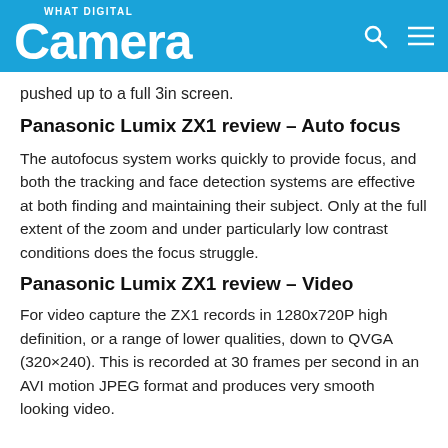What Digital Camera
pushed up to a full 3in screen.
Panasonic Lumix ZX1 review – Auto focus
The autofocus system works quickly to provide focus, and both the tracking and face detection systems are effective at both finding and maintaining their subject. Only at the full extent of the zoom and under particularly low contrast conditions does the focus struggle.
Panasonic Lumix ZX1 review – Video
For video capture the ZX1 records in 1280x720P high definition, or a range of lower qualities, down to QVGA (320×240). This is recorded at 30 frames per second in an AVI motion JPEG format and produces very smooth looking video.